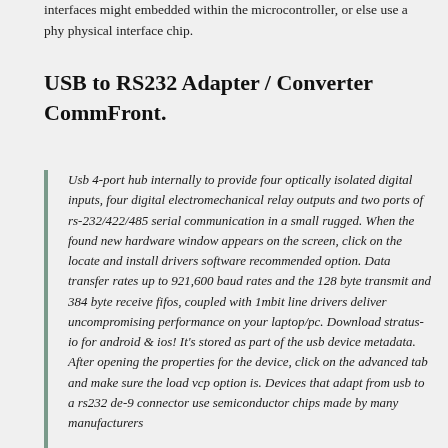interfaces might embedded within the microcontroller, or else use a phy physical interface chip.
USB to RS232 Adapter / Converter CommFront.
Usb 4-port hub internally to provide four optically isolated digital inputs, four digital electromechanical relay outputs and two ports of rs-232/422/485 serial communication in a small rugged. When the found new hardware window appears on the screen, click on the locate and install drivers software recommended option. Data transfer rates up to 921,600 baud rates and the 128 byte transmit and 384 byte receive fifos, coupled with 1mbit line drivers deliver uncompromising performance on your laptop/pc. Download stratus-io for android & ios! It's stored as part of the usb device metadata. After opening the properties for the device, click on the advanced tab and make sure the load vcp option is. Devices that adapt from usb to a rs232 de-9 connector use semiconductor chips made by many manufacturers